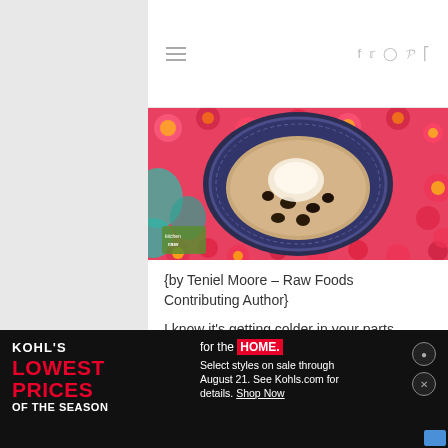Navigation bar with hamburger menu and social icons (f, Twitter, Instagram, Pinterest, RSS)
[Figure (photo): Overhead view of a dark blue ornate bowl filled with oatmeal/porridge topped with chocolate chips and cream, placed on a colorful floral fabric. Small green kitchen logo watermark visible in bottom-left.]
{by Teniel Moore – Raw Foods Contributing Author}
I know it's getting colder in your parts. Spare a thought for me melting over here in Australia as we gear up for
[Figure (screenshot): Kohl's advertisement banner: black background. Left: 'KOHLS' in white bold, 'LOWEST PRICES' in large red text, 'OF THE SEASON' in white. Center: 'for the HOME.' (HOME in red box), 'Select styles on sale through August 21. See Kohls.com for details. Shop Now'. Right: two circular buttons (P and X) in dark gray.]